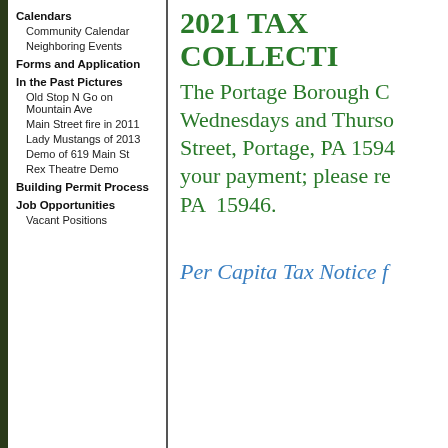Calendars
Community Calendar
Neighboring Events
Forms and Application
In the Past Pictures
Old Stop N Go on Mountain Ave
Main Street fire in 2011
Lady Mustangs of 2013
Demo of 619 Main St
Rex Theatre Demo
Building Permit Process
Job Opportunities
Vacant Positions
2021 TAX COLLECTI…
The Portage Borough C… Wednesdays and Thurso… Street, Portage, PA 1594… your payment; please re… PA 15946.
Per Capita Tax Notice f…